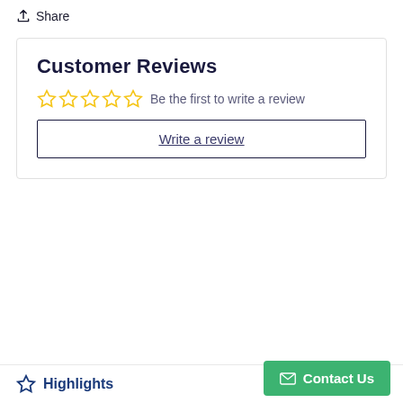Share
Customer Reviews
Be the first to write a review
Write a review
Highlights
Contact Us